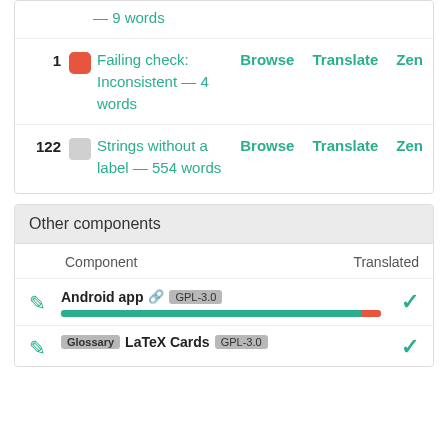| # |  | Description | Browse | Translate | Zen |
| --- | --- | --- | --- | --- | --- |
| 1 | red | Failing check: Inconsistent — 4 words | Browse | Translate | Zen |
| 122 | gray | Strings without a label — 554 words | Browse | Translate | Zen |
Other components
| Component | Translated |
| --- | --- |
| Android app 🔗 GPL-3.0 | ✓ |
| Glossary LaTeX Cards GPL-3.0 | ✓ |